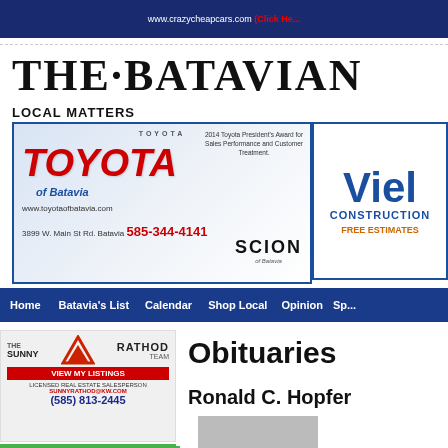www.crazycheapcars.com (Click Here)
THE·BATAVIAN
LOCAL MATTERS
[Figure (photo): Toyota of Batavia advertisement with SCION logo, 2014 Toyota President's Award, phone 585-344-4141]
[Figure (photo): Viel Construction advertisement partial view, FREE ESTIMATES]
Home | Batavia's List | Calendar | Shop Local | Opinion | Sp...
[Figure (photo): Sunny Rathod Team real estate ad, VIEW MY LISTINGS, SUNNYRATHOD@KW.COM, (585) 813-2445]
Obituaries
Ronald C. Hopfer
[Figure (photo): JAM Genesee County partial advertisement with logo]